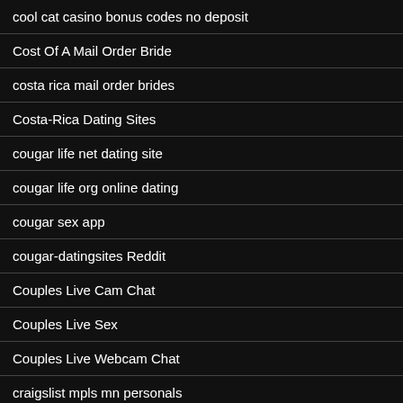cool cat casino bonus codes no deposit
Cost Of A Mail Order Bride
costa rica mail order brides
Costa-Rica Dating Sites
cougar life net dating site
cougar life org online dating
cougar sex app
cougar-datingsites Reddit
Couples Live Cam Chat
Couples Live Sex
Couples Live Webcam Chat
craigslist mpls mn personals
Creampie Porn Stars